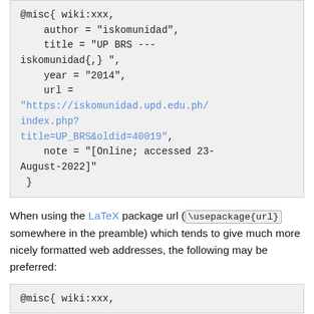@misc{ wiki:xxx,
    author = "iskomunidad",
    title = "UP BRS ---iskomunidad{,} ",
    year = "2014",
    url =
"https://iskomunidad.upd.edu.ph/index.php?title=UP_BRS&oldid=40019",
    note = "[Online; accessed 23-August-2022]"
 }
When using the LaTeX package url (\usepackage{url} somewhere in the preamble) which tends to give much more nicely formatted web addresses, the following may be preferred:
@misc{ wiki:xxx,